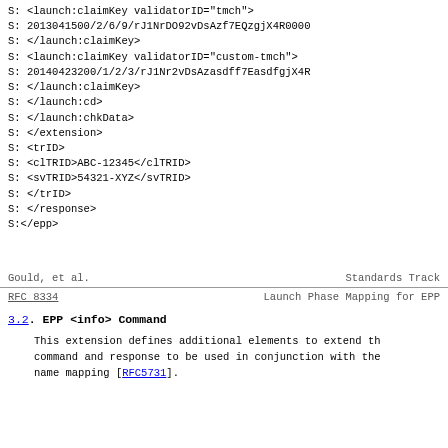S:            <launch:claimKey validatorID="tmch">
 S:            2013041500/2/6/9/rJ1NrDO92vDsAzf7EQzgjX4R0000
 S:            </launch:claimKey>
 S:            <launch:claimKey validatorID="custom-tmch">
 S:            20140423200/1/2/3/rJ1Nr2vDsAzasdff7EasdfgjX4R
 S:            </launch:claimKey>
 S:          </launch:cd>
 S:        </launch:chkData>
 S:      </extension>
 S:      <trID>
 S:        <clTRID>ABC-12345</clTRID>
 S:        <svTRID>54321-XYZ</svTRID>
 S:      </trID>
 S:  </response>
 S:</epp>
Gould, et al.                                    Standards Track
RFC 8334                  Launch Phase Mapping for EPP
3.2.  EPP <info> Command
This extension defines additional elements to extend th command and response to be used in conjunction with the name mapping [RFC5731].